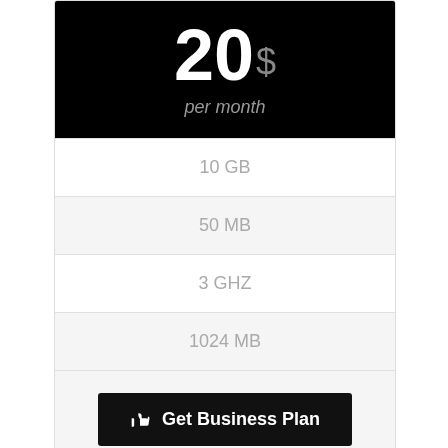20$ per month
10 GB
50 MB
3 GHZ
1024 MB
Get Business Plan
Mega